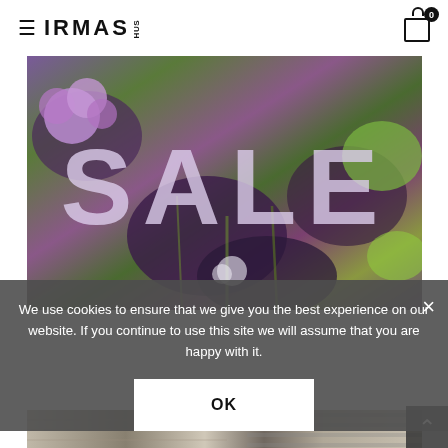IRMAS HUS
[Figure (photo): Flower garden background with purple allium flowers, dark foliage, and green plants. Large text overlay reading SALE in light lavender color.]
We use cookies to ensure that we give you the best experience on our website. If you continue to use this site we will assume that you are happy with it.
[Figure (screenshot): OK button on cookie consent overlay, and partial view of a bottom image strip showing textile/fabric products.]